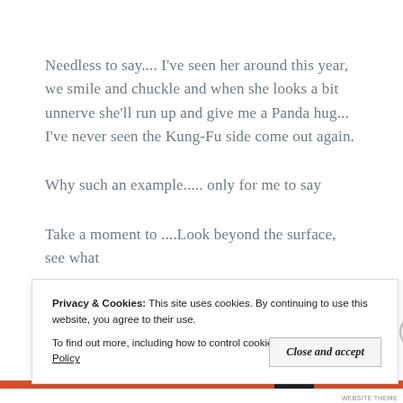Needless to say.... I've seen her around this year, we smile and chuckle and when she looks a bit unnerve she'll run up and give me a Panda hug... I've never seen the Kung-Fu side come out again.
Why such an example..... only for me to say
Take a moment to ....Look beyond the surface, see what
Privacy & Cookies: This site uses cookies. By continuing to use this website, you agree to their use.
To find out more, including how to control cookies, see here: Cookie Policy